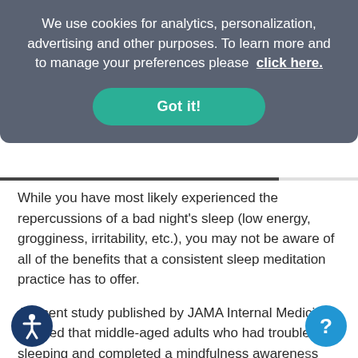We use cookies for analytics, personalization, advertising and other purposes. To learn more and to manage your preferences please click here.
Got it!
While you have most likely experienced the repercussions of a bad night's sleep (low energy, grogginess, irritability, etc.), you may not be aware of all of the benefits that a consistent sleep meditation practice has to offer.
A recent study published by JAMA Internal Medicine showed that middle-aged adults who had trouble sleeping and completed a mindfulness awareness program experienced less insomnia and fatigue